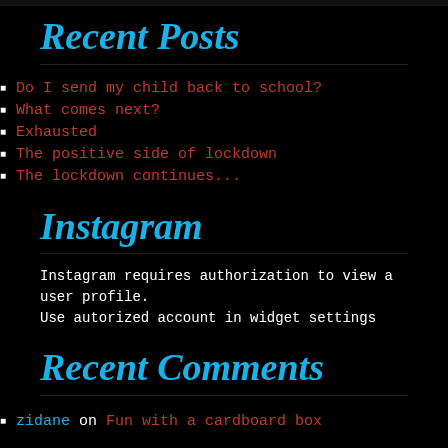Recent Posts
Do I send my child back to school?
What comes next?
Exhausted
The positive side of lockdown
The lockdown continues...
Instagram
Instagram requires authorization to view a user profile. Use autorized account in widget settings
Recent Comments
zidane on Fun with a cardboard box